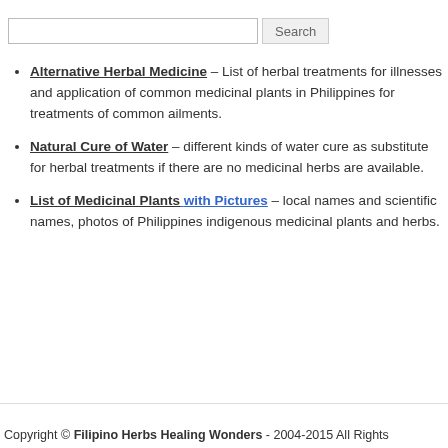Alternative Herbal Medicine – List of herbal treatments for illnesses and application of common medicinal plants in Philippines for treatments of common ailments.
Natural Cure of Water – different kinds of water cure as substitute for herbal treatments if there are no medicinal herbs are available.
List of Medicinal Plants with Pictures – local names and scientific names, photos of Philippines indigenous medicinal plants and herbs.
Copyright © Filipino Herbs Healing Wonders - 2004-2015 All Rights